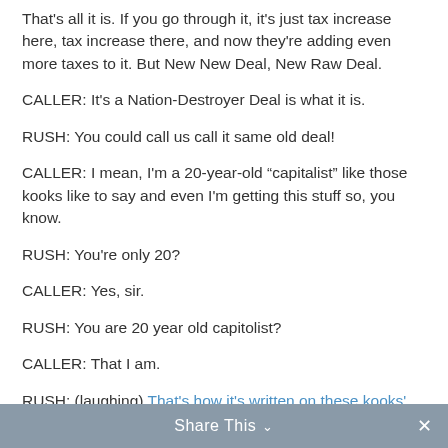That's all it is. If you go through it, it's just tax increase here, tax increase there, and now they're adding even more taxes to it. But New New Deal, New Raw Deal.
CALLER: It's a Nation-Destroyer Deal is what it is.
RUSH: You could call us call it same old deal!
CALLER: I mean, I'm a 20-year-old “capitalist” like those kooks like to say and even I'm getting this stuff so, you know.
RUSH: You're only 20?
CALLER: Yes, sir.
RUSH: You are 20 year old capitolist?
CALLER: That I am.
RUSH: (laughing) That's how it's written on these kooks' website.
Share This